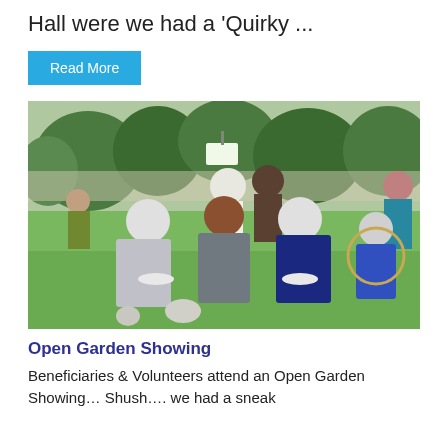Hall were we had a 'Quirky ...
Read More
[Figure (photo): Group of elderly women and other people gathered in a garden at an open garden showing event, sitting and standing on grass surrounded by trees and greenery.]
Open Garden Showing
Beneficiaries & Volunteers attend an Open Garden Showing… Shush…. we had a sneak